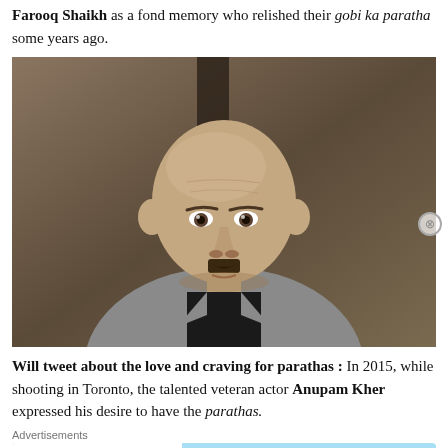Farooq Shaikh as a fond memory who relished their gobi ka paratha some years ago.
[Figure (photo): Portrait photo of Anupam Kher, a bald middle-aged man with a grey mustache, wearing a grey suit jacket, looking directly at camera against a blurred background.]
Will tweet about the love and craving for parathas : In 2015, while shooting in Toronto, the talented veteran actor Anupam Kher expressed his desire to have the parathas.
Advertisements
[Figure (screenshot): Advertisement banner for Day One journaling app with light blue background. Left side shows Day One logo and three app icon illustrations. Right side reads: The only journaling app you'll ever need.]